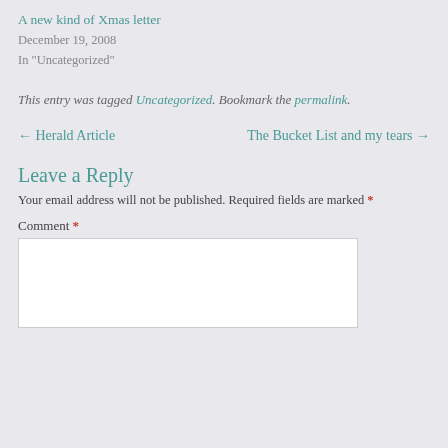A new kind of Xmas letter
December 19, 2008
In "Uncategorized"
This entry was tagged Uncategorized. Bookmark the permalink.
← Herald Article
The Bucket List and my tears →
Leave a Reply
Your email address will not be published. Required fields are marked *
Comment *